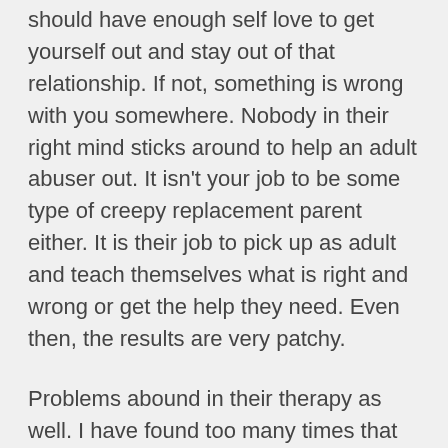should have enough self love to get yourself out and stay out of that relationship. If not, something is wrong with you somewhere. Nobody in their right mind sticks around to help an adult abuser out. It isn't your job to be some type of creepy replacement parent either. It is their job to pick up as adult and teach themselves what is right and wrong or get the help they need. Even then, the results are very patchy.
Problems abound in their therapy as well. I have found too many times that the ones who were considered successes in therapy had therapists who tended to diminish, rational or justify their bad behaviors, have muddled moral concepts coupled with poor boundaries and